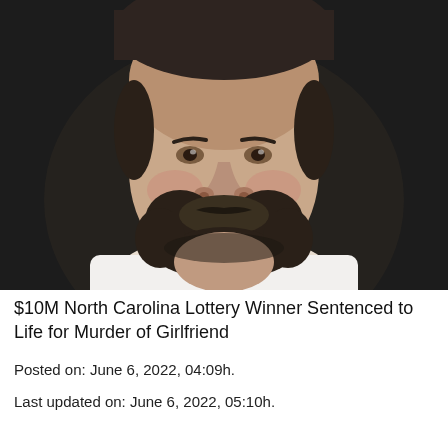[Figure (photo): Headshot photograph of a bearded man with dark hair wearing an open-collar white shirt, against a dark background. The man has a beard and appears to be smiling slightly.]
$10M North Carolina Lottery Winner Sentenced to Life for Murder of Girlfriend
Posted on: June 6, 2022, 04:09h.
Last updated on: June 6, 2022, 05:10h.